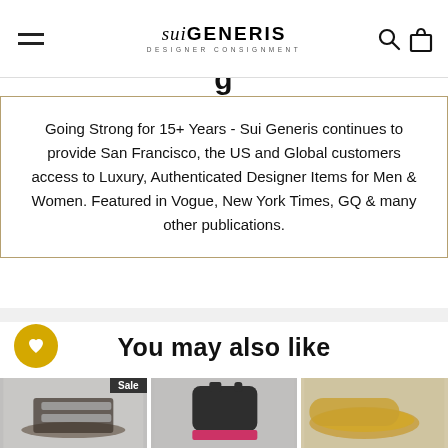sui GENERIS DESIGNER CONSIGNMENT
Going Strong for 15+ Years - Sui Generis continues to provide San Francisco, the US and Global customers access to Luxury, Authenticated Designer Items for Men & Women. Featured in Vogue, New York Times, GQ & many other publications.
You may also like
[Figure (photo): Black leather sandal with buckles and sale badge]
[Figure (photo): Black leather Chelsea ankle boot with pink sole]
[Figure (photo): Glittery gold flat shoe, partially visible]